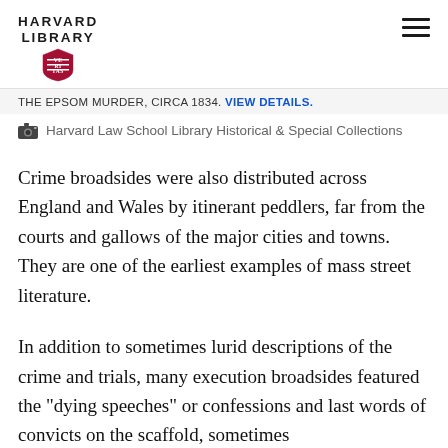HARVARD LIBRARY
THE EPSOM MURDER, CIRCA 1834. VIEW DETAILS.
Harvard Law School Library Historical & Special Collections
Crime broadsides were also distributed across England and Wales by itinerant peddlers, far from the courts and gallows of the major cities and towns. They are one of the earliest examples of mass street literature.
In addition to sometimes lurid descriptions of the crime and trials, many execution broadsides featured the "dying speeches" or confessions and last words of convicts on the scaffold, sometimes in the form of poetry. Often the were so vivid